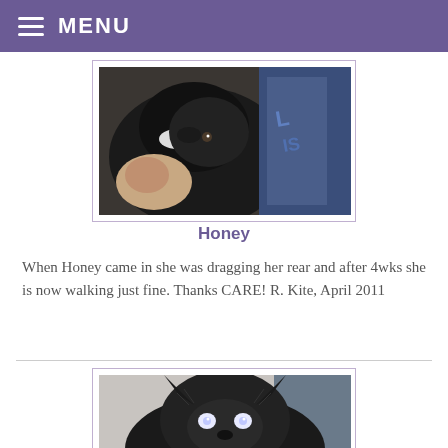MENU
[Figure (photo): Close-up photo of a black and white dog being held, with a blue garment visible in the background]
Honey
When Honey came in she was dragging her rear and after 4wks she is now walking just fine. Thanks CARE! R. Kite, April 2011
[Figure (photo): Close-up photo of a dark fluffy dog with glowing eyes, looking at the camera against a light background]